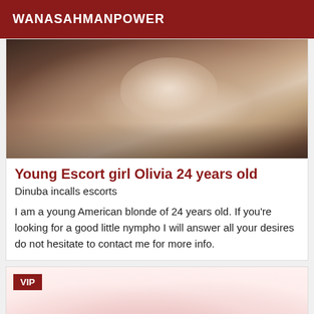WANASAHMANPOWER
[Figure (photo): Close-up blurred photo of a person on a bed, warm tones]
Young Escort girl Olivia 24 years old
Dinuba incalls escorts
I am a young American blonde of 24 years old. If you're looking for a good little nympho I will answer all your desires do not hesitate to contact me for more info.
[Figure (photo): Partial photo with VIP badge, pinkish-peach tones, partially visible figure]